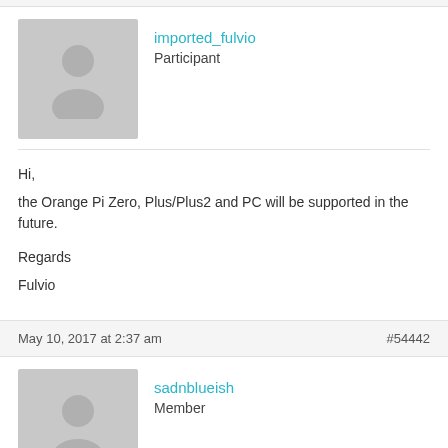imported_fulvio
Participant
Hi,
the Orange Pi Zero, Plus/Plus2 and PC will be supported in the future.

Regards
Fulvio
May 10, 2017 at 2:37 am  #54442
sadnblueish
Member
@fulvio wrote:
Hi,
the Orange Pi Zero, Plus/Plus2 and PC will be supported in the future.